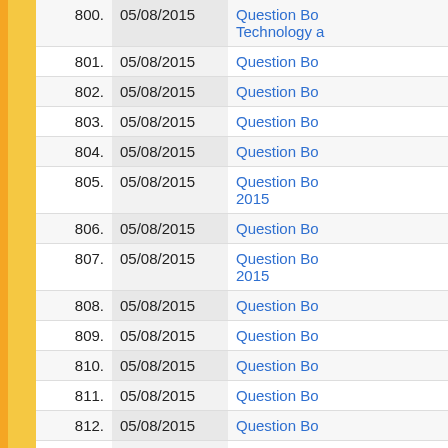| # | Date | Link |
| --- | --- | --- |
| 800. | 05/08/2015 | Question Bo... Technology a... |
| 801. | 05/08/2015 | Question Bo... |
| 802. | 05/08/2015 | Question Bo... |
| 803. | 05/08/2015 | Question Bo... |
| 804. | 05/08/2015 | Question Bo... |
| 805. | 05/08/2015 | Question Bo... 2015 |
| 806. | 05/08/2015 | Question Bo... |
| 807. | 05/08/2015 | Question Bo... 2015 |
| 808. | 05/08/2015 | Question Bo... |
| 809. | 05/08/2015 | Question Bo... |
| 810. | 05/08/2015 | Question Bo... |
| 811. | 05/08/2015 | Question Bo... |
| 812. | 05/08/2015 | Question Bo... |
| 813. | 05/08/2015 | Question Bo... |
| 814. | 05/08/2015 | Question Bo... |